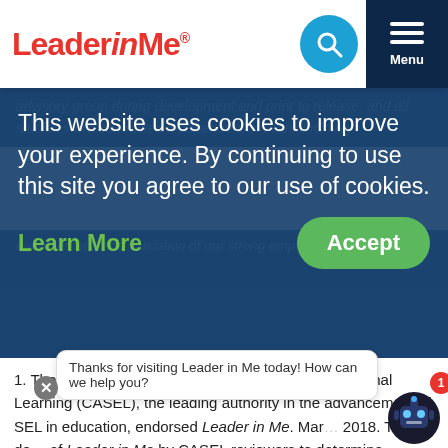[Figure (logo): Leader in Me logo with red text]
[Figure (screenshot): Search icon circle and Menu button in navigation bar]
advisory group during development and prior to release, and all studies were conducted independent of FranklinCovey.
This website uses cookies to improve your experience. By continuing to use this site you agree to our use of cookies.
Accept
Learn More
1. The Collaborative for Academic, Social, and Emotional Learning (CASEL), the leading authority in the advancement of SEL in education, endorsed Leader in Me. March 2018. This designation required a review of Leader in Me by CASEL reviewers to determine
Thanks for visiting Leader in Me today! How can we help you?